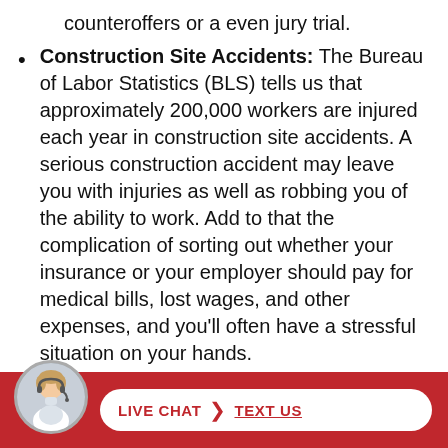counteroffers or a even jury trial.
Construction Site Accidents: The Bureau of Labor Statistics (BLS) tells us that approximately 200,000 workers are injured each year in construction site accidents. A serious construction accident may leave you with injuries as well as robbing you of the ability to work. Add to that the complication of sorting out whether your insurance or your employer should pay for medical bills, lost wages, and other expenses, and you’ll often have a stressful situation on your hands.
General Slip and Falls: A slip and fall in...t m...
[Figure (photo): Customer service representative avatar photo in circular frame, overlaid on red bottom bar with Live Chat and Text Us pill button]